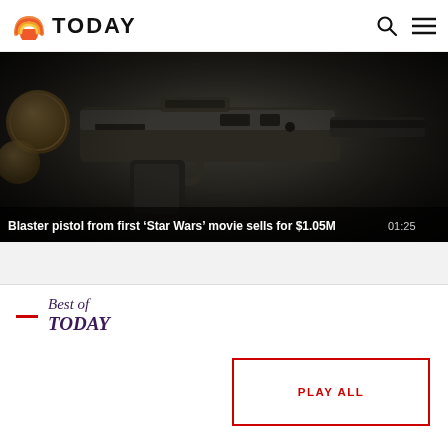TODAY
[Figure (photo): Dark close-up photo of a blaster pistol (Han Solo's blaster from Star Wars), with coins visible on the left side. Dark metallic background.]
Blaster pistol from first ‘Star Wars’ movie sells for $1.05M
01:25
Best of TODAY
PLAY ALL